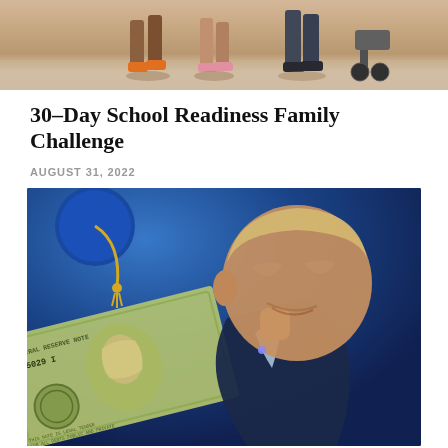[Figure (photo): Top portion of photo showing children walking, seen from waist down, with shadows on a sandy/paved surface]
30-Day School Readiness Family Challenge
AUGUST 31, 2022
[Figure (photo): Composite image showing a smiling older man (Biden) overlaid with a graduation cap, US $100 bill with serial number 895029 I visible, against a blue background]